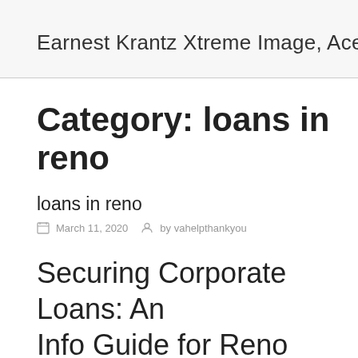Earnest Krantz Xtreme Image, Acessorie
Category: loans in reno
loans in reno
March 11, 2020   by vahelpthankyou
Securing Corporate Loans: An Info Guide for Reno